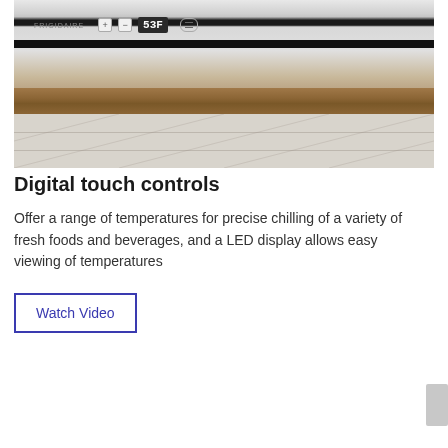[Figure (photo): Photo of a refrigerator control panel with digital temperature display showing 53°F, plus/minus buttons, a dark horizontal bar, a wooden shelf below, and tile flooring at the bottom]
Digital touch controls
Offer a range of temperatures for precise chilling of a variety of fresh foods and beverages, and a LED display allows easy viewing of temperatures
Watch Video